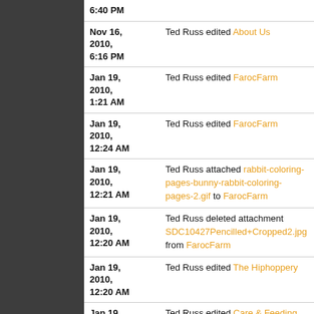| Date | Action |
| --- | --- |
| 6:40 PM |  |
| Nov 16, 2010, 6:16 PM | Ted Russ edited About Us |
| Jan 19, 2010, 1:21 AM | Ted Russ edited FarocFarm |
| Jan 19, 2010, 12:24 AM | Ted Russ edited FarocFarm |
| Jan 19, 2010, 12:21 AM | Ted Russ attached rabbit-coloring-pages-bunny-rabbit-coloring-pages-2.gif to FarocFarm |
| Jan 19, 2010, 12:20 AM | Ted Russ deleted attachment SDC10427Pencilled+Cropped2.jpg from FarocFarm |
| Jan 19, 2010, 12:20 AM | Ted Russ edited The Hiphoppery |
| Jan 19, 2010, 12:11 AM | Ted Russ edited Care & Feeding |
| Jan 18, 2010, 11:10 PM | Ted Russ created Emergency |